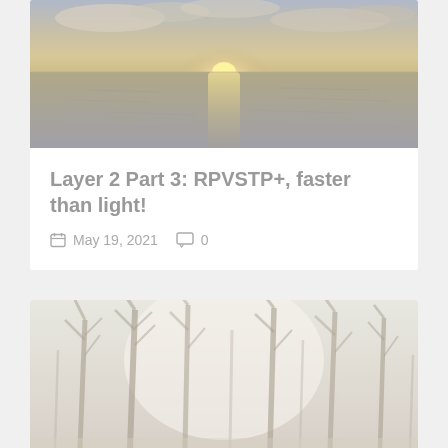[Figure (photo): Sunset over calm water with light reflecting on the surface and clouds in the sky]
Layer 2 Part 3: RPVSTP+, faster than light!
May 19, 2021  0
[Figure (photo): Misty winter forest with bare trees, faint light through the trees]